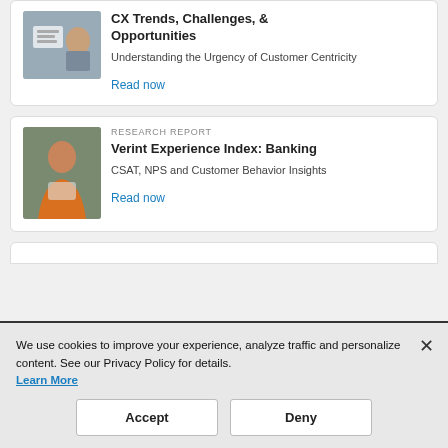[Figure (screenshot): Card 1 partial: image of person using device, title 'CX Trends, Challenges, & Opportunities', subtitle 'Understanding the Urgency of Customer Centricity', Read now link]
[Figure (screenshot): Card 2: RESEARCH REPORT label, image of woman in orange top, title 'Verint Experience Index: Banking', subtitle 'CSAT, NPS and Customer Behavior Insights', Read now link]
We use cookies to improve your experience, analyze traffic and personalize content. See our Privacy Policy for details. Learn More